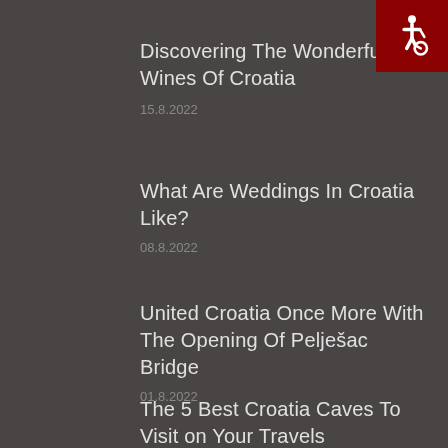[Figure (logo): Accessibility icon - white wheelchair symbol on dark red background in top right corner]
Discovering The Wonderful Wines Of Croatia
15.8.2022
What Are Weddings In Croatia Like?
08.8.2022
United Croatia Once More With The Opening Of Pelješac Bridge
01.8.2022
The 5 Best Croatia Caves To Visit on Your Travels
25.7.2022